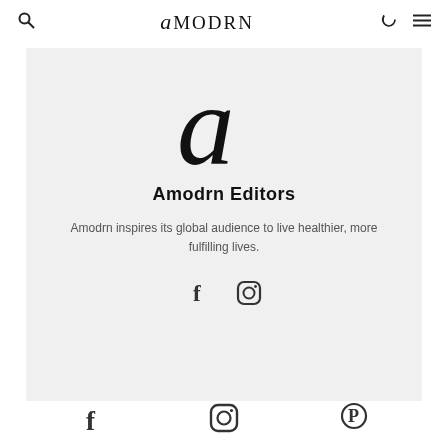amodrn
[Figure (logo): Large italic cursive letter 'a' in black, the Amodrn logo, on a light grey background]
Amodrn Editors
Amodrn inspires its global audience to live healthier, more fulfilling lives.
[Figure (illustration): Social media icons: Facebook (f) and Instagram (camera circle) in dark grey]
[Figure (illustration): Bottom footer social media icons: Facebook, Instagram, and Pinterest in dark grey]